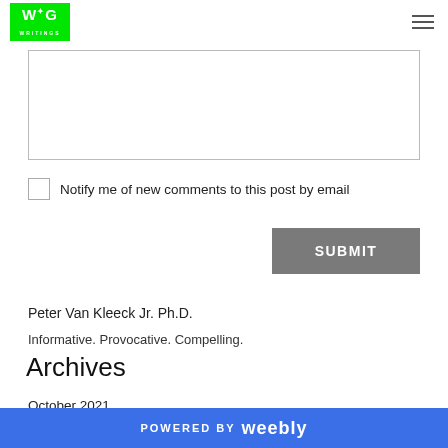WG
[Figure (other): Comment text area input box]
Notify me of new comments to this post by email
SUBMIT
Peter Van Kleeck Jr. Ph.D.
Informative. Provocative. Compelling.
Archives
October 2021
POWERED BY weebly